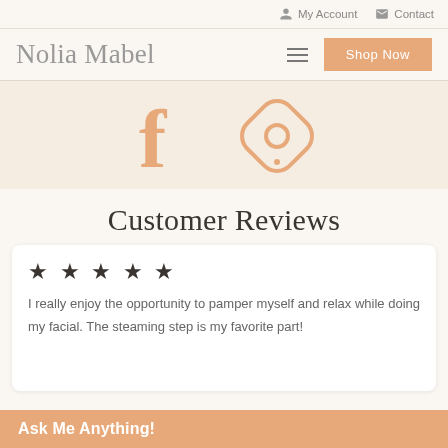My Account   Contact
Nolia Mabel
Shop Now
[Figure (logo): Facebook icon (orange 'f' logo) and a circular social media icon (orange outlined diamond with circle inside)]
Customer Reviews
★★★★★
I really enjoy the opportunity to pamper myself and relax while doing my facial. The steaming step is my favorite part!
Ask Me Anything!